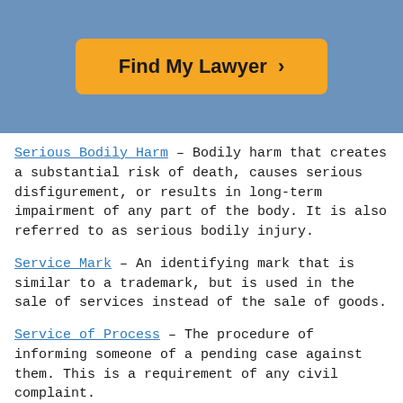[Figure (other): Blue header banner with orange 'Find My Lawyer >' button]
Serious Bodily Harm – Bodily harm that creates a substantial risk of death, causes serious disfigurement, or results in long-term impairment of any part of the body. It is also referred to as serious bodily injury.
Service Mark – An identifying mark that is similar to a trademark, but is used in the sale of services instead of the sale of goods.
Service of Process – The procedure of informing someone of a pending case against them. This is a requirement of any civil complaint.
Service-Level Agreement – A type of service contract wherein the services provided are subject to different levels and rates.
Setback Ordinance – A property law that sets forth the